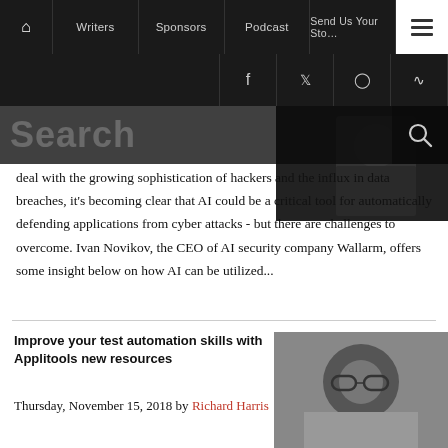Home | Writers | Sponsors | Podcast | Send Us Your Story
[Figure (screenshot): Navigation bar with home icon, Writers, Sponsors, Podcast, Send Us Your Story links, and hamburger menu button on dark background]
[Figure (screenshot): Social media icons bar: Facebook, Twitter, Instagram, RSS feed on dark background]
[Figure (screenshot): Search overlay with large semi-transparent 'Search' text and magnifying glass icon]
deal with the growing sophistication of hackers and the influx in data breaches, it's becoming clear that AI could be a critical tool for automatically defending applications from cyber attacks - but there are challenges to overcome. Ivan Novikov, the CEO of AI security company Wallarm, offers some insight below on how AI can be utilized...
[Figure (photo): Dark photo of a person in the upper right area]
Improve your test automation skills with Applitools new resources
Thursday, November 15, 2018 by Richard Harris
[Figure (photo): Photo of a person wearing glasses looking through a magnifying glass or lens]